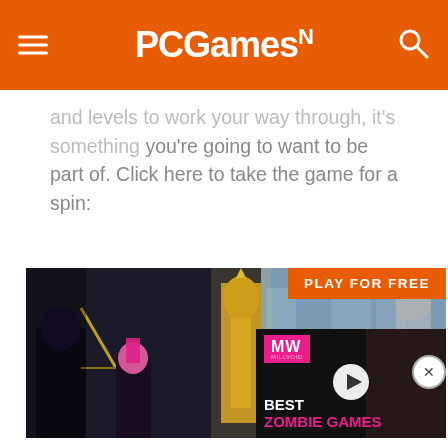PCGamesN
and levels to work your way through, it’s something you’re going to want to be part of. Click here to take the game for a spin:
[Figure (screenshot): Fantasy action game screenshot showing armored warriors in battle, with a 'PLAY FOR FREE' orange button overlay and a video widget showing 'BEST ZOMBIE GAMES' from Millvoid/MW network]
PLAY FOR FREE
BEST ZOMBIE GAMES